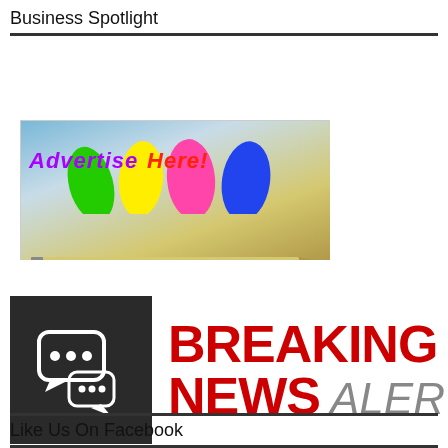Business Spotlight
[Figure (illustration): Advertise Here banner showing colorful paint blobs and a pencil with text 'Advertise Here!' and 'Let Us Design Your Ad For This Ad Spot!']
[Figure (infographic): Breaking News Alerts graphic: dark box with chat bubble icon on left, red 'BREAKING NEWS' and gray italic 'ALERTS' text on right]
Like Us On Facebook